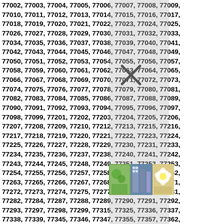77002, 77003, 77004, 77005, 77006, 77007, 77008, 77009, 77010, 77011, 77012, 77013, 77014, 77015, 77016, 77017, 77018, 77019, 77020, 77021, 77022, 77023, 77024, 77025, 77026, 77027, 77028, 77029, 77030, 77031, 77032, 77033, 77034, 77035, 77036, 77037, 77038, 77039, 77040, 77041, 77042, 77043, 77044, 77045, 77046, 77047, 77048, 77049, 77050, 77051, 77052, 77053, 77054, 77055, 77056, 77057, 77058, 77059, 77060, 77061, 77062, 77063, 77064, 77065, 77066, 77067, 77068, 77069, 77070, 77071, 77072, 77073, 77074, 77075, 77076, 77077, 77078, 77079, 77080, 77081, 77082, 77083, 77084, 77085, 77086, 77087, 77088, 77089, 77090, 77091, 77092, 77093, 77094, 77095, 77096, 77097, 77098, 77099, 77201, 77202, 77203, 77204, 77205, 77206, 77207, 77208, 77209, 77210, 77212, 77213, 77215, 77216, 77217, 77218, 77219, 77220, 77221, 77222, 77223, 77224, 77225, 77226, 77227, 77228, 77229, 77230, 77231, 77233, 77234, 77235, 77236, 77237, 77238, 77240, 77241, 77242, 77243, 77244, 77245, 77248, 77249, 77251, 77252, 77253, 77254, 77255, 77256, 77257, 77258, 77259, 77261, 77262, 77263, 77265, 77266, 77267, 77268, 77269, 77270, 77271, 77272, 77273, 77274, 77275, 77277, 77279, 77280, 77281, 77282, 77284, 77287, 77288, 77289, 77290, 77291, 77292, 77293, 77297, 77298, 77299, 77315, 77325, 77336, 77337, 77338, 77339, 77345, 77346, 77347, 77355, 77357, 77362, 77365, 77373, 77375, 77377, 77379, 77380, 77381, 77383, 77385, 77386, 77387, 77388, 77389, 77391, 77393, 77396
[Figure (photo): A small photo overlay showing nature/outdoor images, partially obscuring the zip code list]